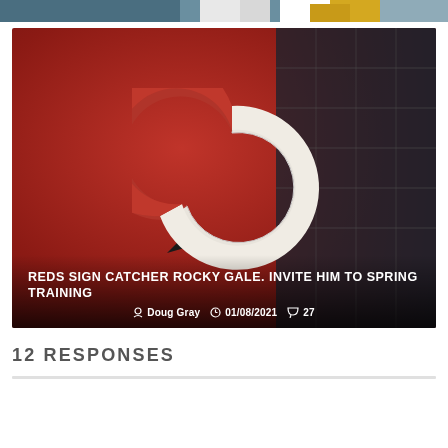[Figure (photo): Partial top strip showing a baseball player in white uniform with a yellow glove, cropped at the top of the page]
[Figure (photo): Close-up photo of a Cincinnati Reds red baseball cap with the team's white C logo, with stadium seating visible in the background. Overlaid with article title and metadata.]
REDS SIGN CATCHER ROCKY GALE. INVITE HIM TO SPRING TRAINING
Doug Gray  01/08/2021  27
12 RESPONSES